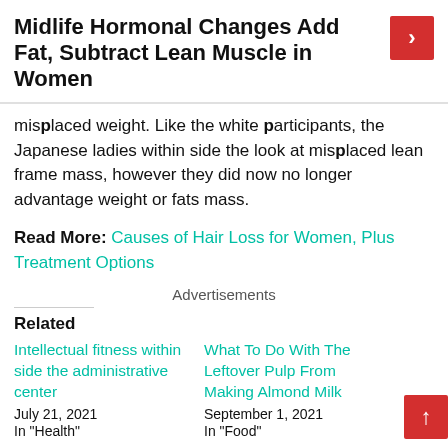Midlife Hormonal Changes Add Fat, Subtract Lean Muscle in Women
misplaced weight. Like the white participants, the Japanese ladies within side the look at misplaced lean frame mass, however they did now no longer advantage weight or fats mass.
Read More: Causes of Hair Loss for Women, Plus Treatment Options
Advertisements
Related
Intellectual fitness within side the administrative center
July 21, 2021
In "Health"
What To Do With The Leftover Pulp From Making Almond Milk
September 1, 2021
In "Food"